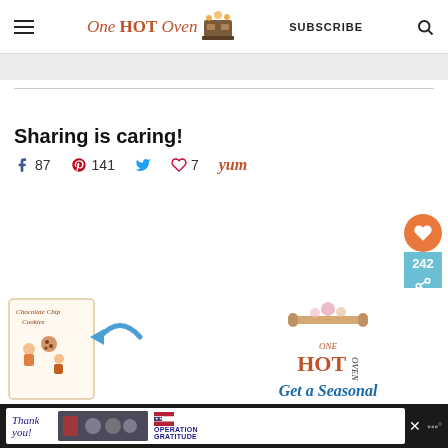One HOT Oven — SUBSCRIBE
Sharing is caring!
87 [Facebook] 141 [Pinterest] [Twitter] 7 [Heart] Yum
[Figure (infographic): Floating share widget showing heart icon (orange circle), count 242, and share icon (teal)]
[Figure (infographic): What's Next panel: Sweet Mandarin... with thumbnail]
[Figure (illustration): Chocolate Chip Cookies recipe card illustration with back arrow and One HOT Oven logo with rolling pin; text: Get a Seasonal]
Ad: Thank you / Operation Gratitude advertisement bar